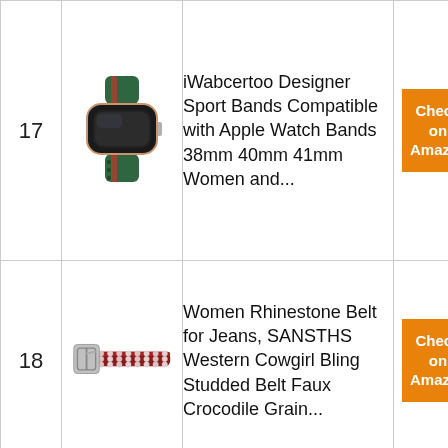| # | Image | Product | Link |
| --- | --- | --- | --- |
| 17 | [watch band image] | iWabcertoo Designer Sport Bands Compatible with Apple Watch Bands 38mm 40mm 41mm Women and... | Check on Amazon |
| 18 | [rhinestone belt image] | Women Rhinestone Belt for Jeans, SANSTHS Western Cowgirl Bling Studded Belt Faux Crocodile Grain... | Check on Amazon |
|  |  | ... |  |